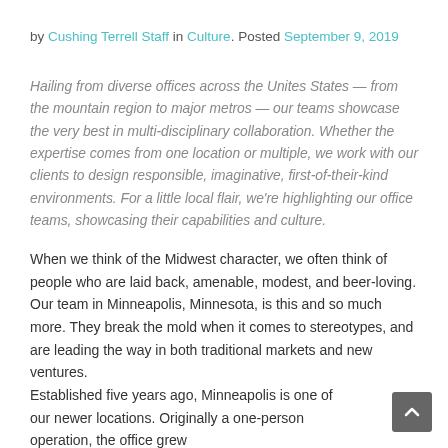by Cushing Terrell Staff in Culture. Posted September 9, 2019
Hailing from diverse offices across the Unites States — from the mountain region to major metros — our teams showcase the very best in multi-disciplinary collaboration. Whether the expertise comes from one location or multiple, we work with our clients to design responsible, imaginative, first-of-their-kind environments. For a little local flair, we're highlighting our office teams, showcasing their capabilities and culture.
When we think of the Midwest character, we often think of people who are laid back, amenable, modest, and beer-loving. Our team in Minneapolis, Minnesota, is this and so much more. They break the mold when it comes to stereotypes, and are leading the way in both traditional markets and new ventures.
Established five years ago, Minneapolis is one of our newer locations. Originally a one-person operation, the office grew